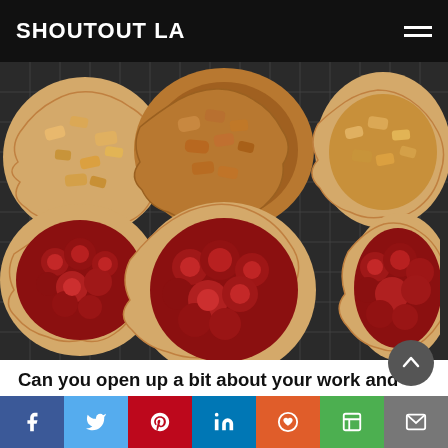SHOUTOUT LA
[Figure (photo): Six rustic open-faced mini galette pies on a cooling rack — top row has three fruit galettes with peach/apple filling, bottom row has three galettes with deep red berry/strawberry filling.]
Can you open up a bit about your work and career? We're big fans and we'd love for our community to learn more about your work
In addition to starting my own culinary brand,